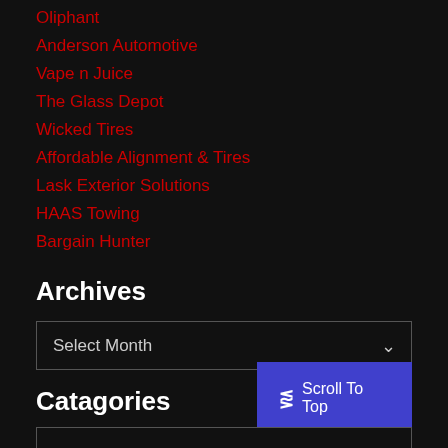Oliphant
Anderson Automotive
Vape n Juice
The Glass Depot
Wicked Tires
Affordable Alignment & Tires
Lask Exterior Solutions
HAAS Towing
Bargain Hunter
Archives
Select Month
Catagories
Scroll To Top